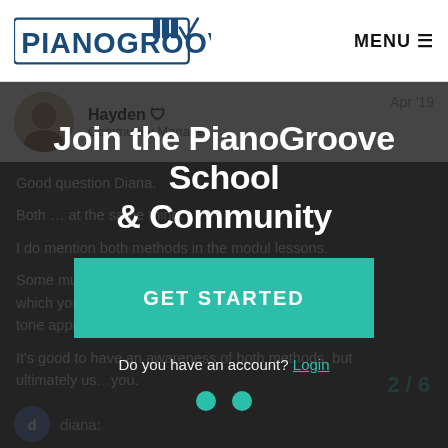PIANOGROOVE | MENU
Hayden — Community Manager — Apr '19
Good question Diana.

Both... at the same thing.

I do mention both methods in the modal lessons.

Some music... 'approach' which you ar... r the 'scale tone appro... heory.

It's good to have an awareness of both methods, but ultimately us... you.
Join the PianoGroove School & Community
GET STARTED
Do you have an account? Login
2 / 6
diana: